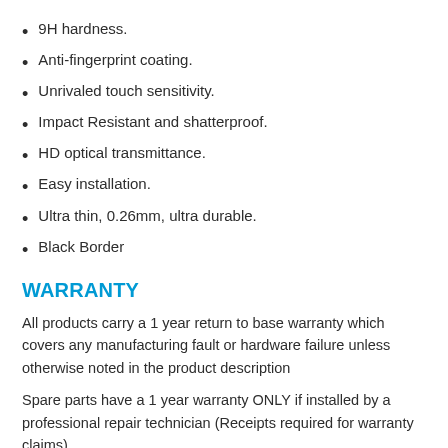9H hardness.
Anti-fingerprint coating.
Unrivaled touch sensitivity.
Impact Resistant and shatterproof.
HD optical transmittance.
Easy installation.
Ultra thin, 0.26mm, ultra durable.
Black Border
WARRANTY
All products carry a 1 year return to base warranty which covers any manufacturing fault or hardware failure unless otherwise noted in the product description
Spare parts have a 1 year warranty ONLY if installed by a professional repair technician (Receipts required for warranty claims)
For more info on warranty, please click here